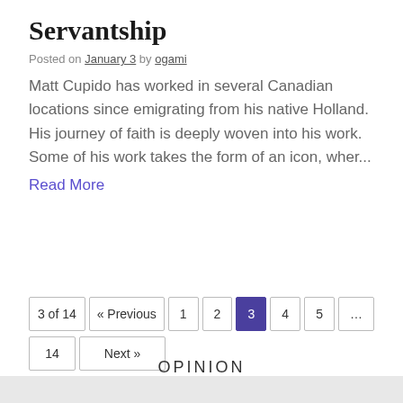Servantship
Posted on January 3 by ogami
Matt Cupido has worked in several Canadian locations since emigrating from his native Holland. His journey of faith is deeply woven into his work. Some of his work takes the form of an icon, wher...
Read More
3 of 14  « Previous  1  2  3  4  5  ...  14  Next »
OPINION